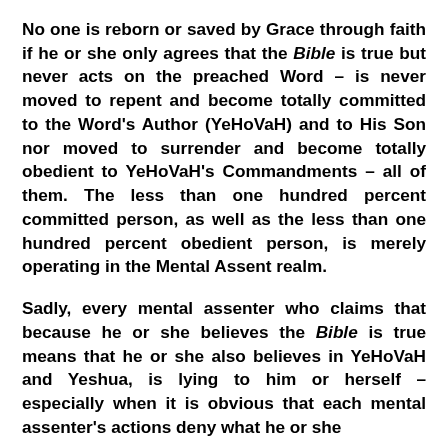No one is reborn or saved by Grace through faith if he or she only agrees that the Bible is true but never acts on the preached Word – is never moved to repent and become totally committed to the Word's Author (YeHoVaH) and to His Son nor moved to surrender and become totally obedient to YeHoVaH's Commandments – all of them. The less than one hundred percent committed person, as well as the less than one hundred percent obedient person, is merely operating in the Mental Assent realm.
Sadly, every mental assenter who claims that because he or she believes the Bible is true means that he or she also believes in YeHoVaH and Yeshua, is lying to him or herself – especially when it is obvious that each mental assenter's actions deny what he or she